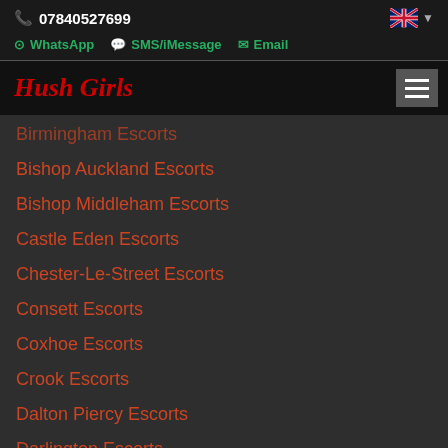07840527699
WhatsApp  SMS/iMessage  Email
Hush Girls
Birmingham Escorts
Bishop Auckland Escorts
Bishop Middleham Escorts
Castle Eden Escorts
Chester-Le-Street Escorts
Consett Escorts
Coxhoe Escorts
Crook Escorts
Dalton Piercy Escorts
Darlington Escorts
Durham Escorts